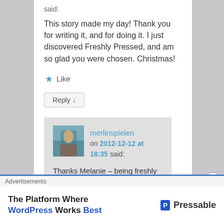said:
This story made my day! Thank you for writing it, and for doing it. I just discovered Freshly Pressed, and am so glad you were chosen. Christmas!
★ Like
Reply ↓
merlinspielen
on 2012-12-12 at 18:35 said:
Thanks Melanie – being freshly pressed is
Advertisements
The Platform Where WordPress Works Best
[Figure (logo): Pressable logo with P icon and wordmark]